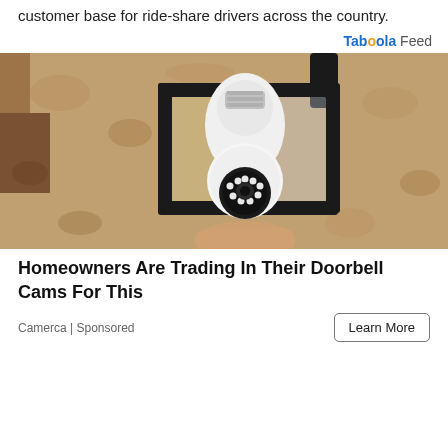customer base for ride-share drivers across the country.
[Figure (photo): A security camera shaped like a light bulb installed inside a vintage black outdoor lantern fixture mounted on a textured stone/stucco wall. A hand is visible holding the camera at the bottom.]
Homeowners Are Trading In Their Doorbell Cams For This
Camerca | Sponsored
Learn More